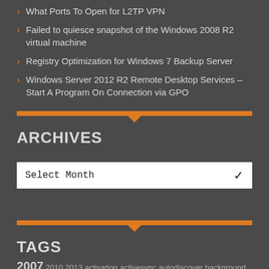What Ports To Open for L2TP VPN
Failed to quiesce snapshot of the Windows 2008 R2 virtual machine
Registry Optimization for Windows 7 Backup Server
Windows Server 2012 R2 Remote Desktop Services – Start A Program On Connection via GPO
ARCHIVES
Select Month
TAGS
2007 2010 2013 activation activesync autodiscover background BFS